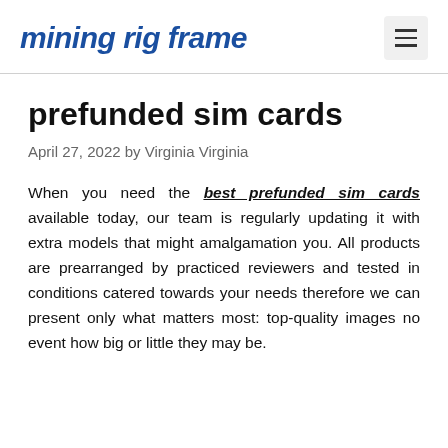mining rig frame
prefunded sim cards
April 27, 2022 by Virginia Virginia
When you need the best prefunded sim cards available today, our team is regularly updating it with extra models that might amalgamation you. All products are prearranged by practiced reviewers and tested in conditions catered towards your needs therefore we can present only what matters most: top-quality images no event how big or little they may be.